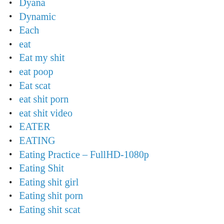Dyana
Dynamic
Each
eat
Eat my shit
eat poop
Eat scat
eat shit porn
eat shit video
EATER
EATING
Eating Practice – FullHD-1080p
Eating Shit
Eating shit girl
Eating shit porn
Eating shit scat